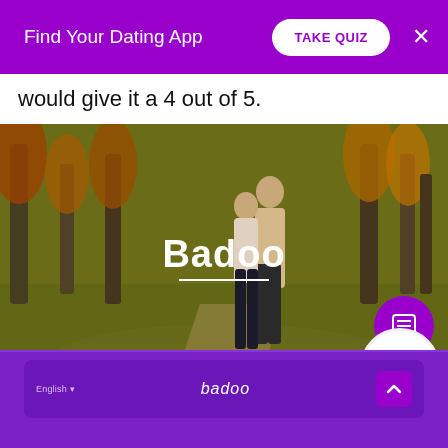Find Your Dating App  TAKE QUIZ  ×
would give it a 4 out of 5.
[Figure (photo): A couple embracing/kissing in an autumn park with trees, overlaid with 'Badoo' text in white bold font, a horizontal white line beneath it, a purple icon button, and a '53%' progress circle in the bottom-right corner.]
[Figure (screenshot): Bottom section showing Badoo app interface: purple background with 'English' label on left, 'badoo' logo in center, and an up-arrow button on the right.]